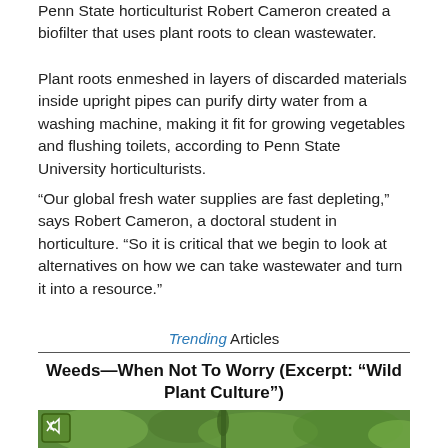Penn State horticulturist Robert Cameron created a biofilter that uses plant roots to clean wastewater.
Plant roots enmeshed in layers of discarded materials inside upright pipes can purify dirty water from a washing machine, making it fit for growing vegetables and flushing toilets, according to Penn State University horticulturists.
“Our global fresh water supplies are fast depleting,” says Robert Cameron, a doctoral student in horticulture. “So it is critical that we begin to look at alternatives on how we can take wastewater and turn it into a resource.”
Trending Articles
Weeds—When Not To Worry (Excerpt: “Wild Plant Culture”)
[Figure (photo): Close-up photograph of green weeds/wild plants with spiky flower heads against a blurred green background. A small green square icon with a muted/speaker symbol is visible in the upper left of the image.]